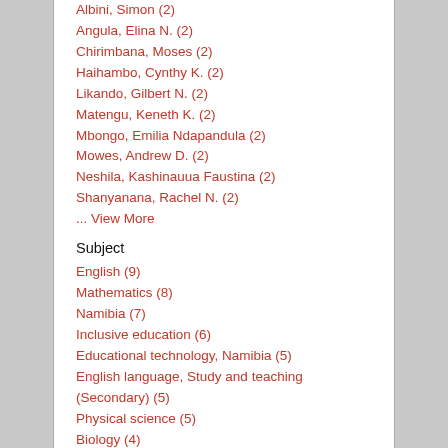Albini, Simon (2)
Angula, Elina N. (2)
Chirimbana, Moses (2)
Haihambo, Cynthy K. (2)
Likando, Gilbert N. (2)
Matengu, Keneth K. (2)
Mbongo, Emilia Ndapandula (2)
Mowes, Andrew D. (2)
Neshila, Kashinauua Faustina (2)
Shanyanana, Rachel N. (2)
... View More
Subject
English (9)
Mathematics (8)
Namibia (7)
Inclusive education (6)
Educational technology, Namibia (5)
English language, Study and teaching (Secondary) (5)
Physical science (5)
Biology (4)
Education, Namibia (4)
English language, Study and teaching, Foreign speakers (4)
Learning (4)
Novice teachers (4)
Reading (Primary), Namibia (4)
Reading, Remedial teaching, Namibia (4)